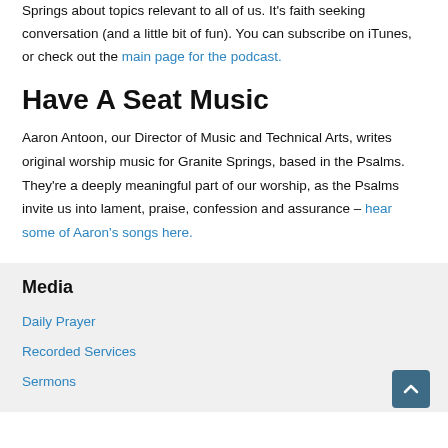Springs about topics relevant to all of us. It's faith seeking conversation (and a little bit of fun). You can subscribe on iTunes, or check out the main page for the podcast.
Have A Seat Music
Aaron Antoon, our Director of Music and Technical Arts, writes original worship music for Granite Springs, based in the Psalms. They're a deeply meaningful part of our worship, as the Psalms invite us into lament, praise, confession and assurance – hear some of Aaron's songs here.
Media
Daily Prayer
Recorded Services
Sermons